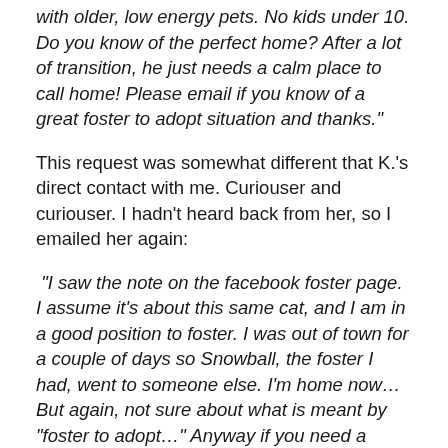with older, low energy pets. No kids under 10. Do you know of the perfect home? After a lot of transition, he just needs a calm place to call home! Please email if you know of a great foster to adopt situation and thanks."
This request was somewhat different that K.'s direct contact with me. Curiouser and curiouser. I hadn't heard back from her, so I emailed her again:
“I saw the note on the facebook foster page. I assume it’s about this same cat, and I am in a good position to foster. I was out of town for a couple of days so Snowball, the foster I had, went to someone else. I’m home now… But again, not sure about what is meant by “foster to adopt…” Anyway if you need a foster, I can pick kitty up tomorrow after work. Uh, Media director…?"
I was beginning to wonder.